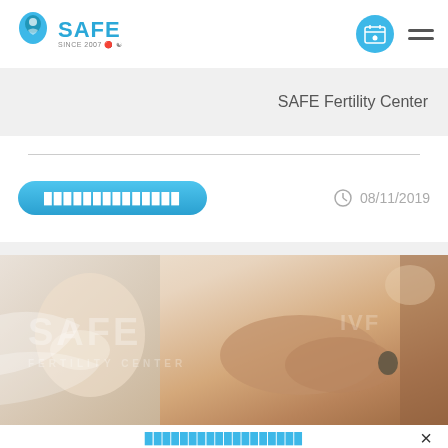SAFE Fertility Center - Logo and navigation header
SAFE Fertility Center
08/11/2019
[Figure (photo): Close-up photo of a newborn baby being held by an adult hand, with SAFE FERTILITY CENTER watermark overlay in white]
× (close button)
Thai category link text